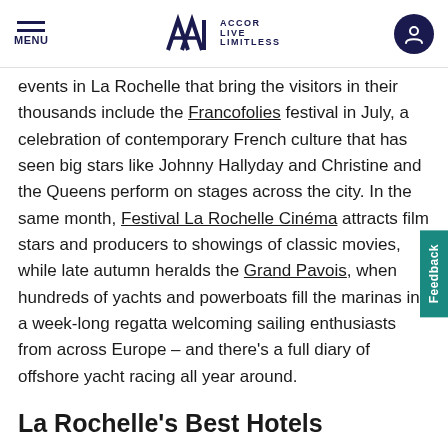MENU | ALL ACCOR LIVE LIMITLESS
events in La Rochelle that bring the visitors in their thousands include the Francofolies festival in July, a celebration of contemporary French culture that has seen big stars like Johnny Hallyday and Christine and the Queens perform on stages across the city. In the same month, Festival La Rochelle Cinéma attracts film stars and producers to showings of classic movies, while late autumn heralds the Grand Pavois, when hundreds of yachts and powerboats fill the marinas in a week-long regatta welcoming sailing enthusiasts from across Europe – and there's a full diary of offshore yacht racing all year around.
La Rochelle's Best Hotels
We have multiple properties around the city, with plenty of